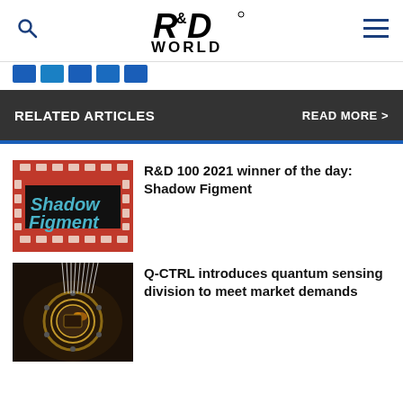R&D WORLD
RELATED ARTICLES  READ MORE >
[Figure (photo): Shadow Figment logo on red maze background]
R&D 100 2021 winner of the day: Shadow Figment
[Figure (photo): Quantum computing hardware with wires and circular metal component]
Q-CTRL introduces quantum sensing division to meet market demands